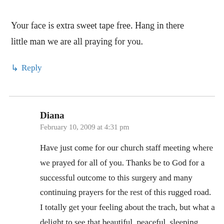Your face is extra sweet tape free. Hang in there little man we are all praying for you.
↳ Reply
Diana
February 10, 2009 at 4:31 pm
Have just come for our church staff meeting where we prayed for all of you. Thanks be to God for a successful outcome to this surgery and many continuing prayers for the rest of this rugged road. I totally get your feeling about the trach, but what a delight to see that beautiful, peaceful, sleeping face,